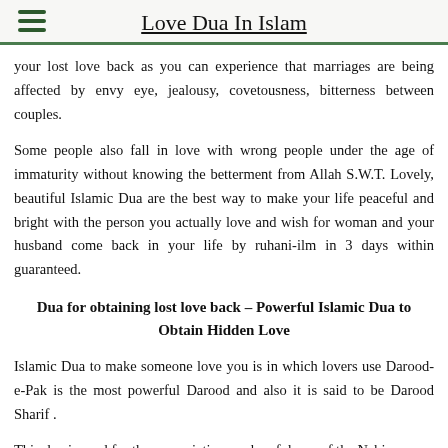Love Dua In Islam
your lost love back as you can experience that marriages are being affected by envy eye, jealousy, covetousness, bitterness between couples.
Some people also fall in love with wrong people under the age of immaturity without knowing the betterment from Allah S.W.T. Lovely, beautiful Islamic Dua are the best way to make your life peaceful and bright with the person you actually love and wish for woman and your husband come back in your life by ruhani-ilm in 3 days within guaranteed.
Dua for obtaining lost love back – Powerful Islamic Dua to Obtain Hidden Love
Islamic Dua to make someone love you is in which lovers use Darood-e-Pak is the most powerful Darood and also it is said to be Darood Sharif .
This dua is used for the appreciation or cheerfulness of the Nabi Kareem, Sallalah Elahi wasalam, who is the messenger of the